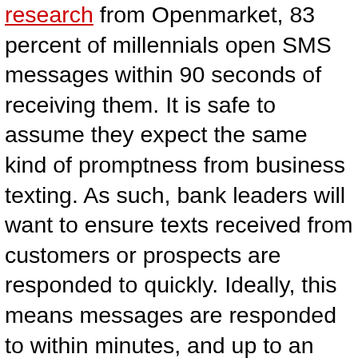research from Openmarket, 83 percent of millennials open SMS messages within 90 seconds of receiving them. It is safe to assume they expect the same kind of promptness from business texting. As such, bank leaders will want to ensure texts received from customers or prospects are responded to quickly. Ideally, this means messages are responded to within minutes, and up to an hour after text receipt should be the absolute longest accepted. If there are times when staff cannot respond (likely when the branch is closed), set up an automated message that informs people when they can expect a response.
5. Keep private information away from text. As with one-way texting, avoid sharing private information. Banks can use texts to inform someone of something related to an account, but they should not share account details, such as balances and personal identifying information.